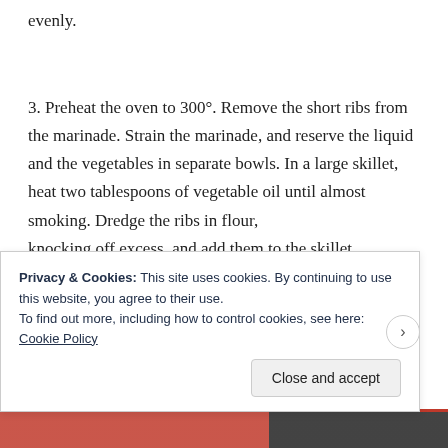evenly.
3. Preheat the oven to 300°. Remove the short ribs from the marinade. Strain the marinade, and reserve the liquid and the vegetables in separate bowls. In a large skillet, heat two tablespoons of vegetable oil until almost smoking. Dredge the ribs in flour,
knocking off excess, and add them to the skillet
Privacy & Cookies: This site uses cookies. By continuing to use this website, you agree to their use.
To find out more, including how to control cookies, see here: Cookie Policy
Close and accept